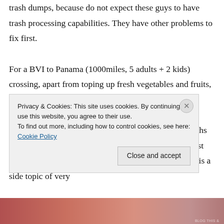trash dumps, because do not expect these guys to have trash processing capabilities. They have other problems to fix first.
For a BVI to Panama (1000miles, 5 adults + 2 kids) crossing, apart from toping up fresh vegetables and fruits, we did not bother about provisioning.
Anyway, as a live aboard, we always have 1 to 2 months of total autonomy, if not more. But the weather forecast always dictates the route and the timing, provisioning is a side topic of very
Privacy & Cookies: This site uses cookies. By continuing to use this website, you agree to their use.
To find out more, including how to control cookies, see here: Cookie Policy
[Figure (photo): Partial image strip at the bottom of the page showing a warm-toned food or travel photo]